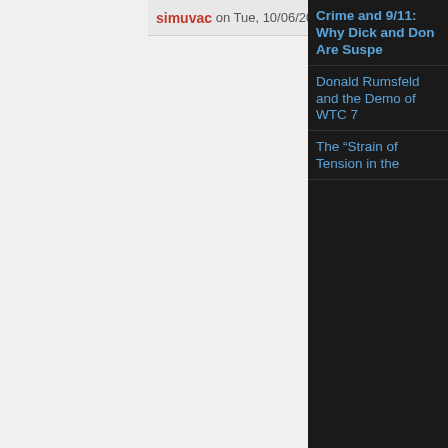simuvac on Tue, 10/06/2009 - 4:55p
Crime and 9/11: Why Dick and Don Are Suspe
Donald Rumsfeld and the Demo of WTC 7
The “Strain of Tension in the